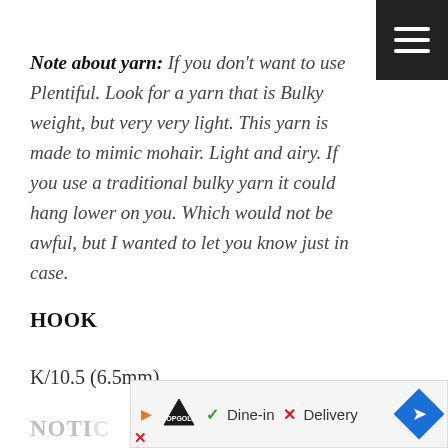Note about yarn: If you don't want to use Plentiful. Look for a yarn that is Bulky weight, but very very light. This yarn is made to mimic mohair. Light and airy. If you use a traditional bulky yarn it could hang lower on you. Which would not be awful, but I wanted to let you know just in case.
HOOK
K/10.5 (6.5mm)
NOTIC
[Figure (other): Advertisement banner for TopGolf showing Dine-in and Delivery options with navigation arrow icon]